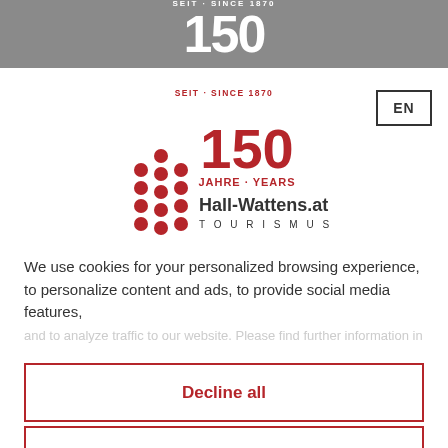[Figure (logo): Hall-Wattens.at Tourismus logo with 150 Jahre Since 1870 branding in grey banner at top]
[Figure (logo): Hall-Wattens.at Tourismus 150 Jahre Since 1870 logo with dot grid pattern]
EN
We use cookies for your personalized browsing experience, to personalize content and ads, to provide social media features,
Decline all
Configure
Accept all